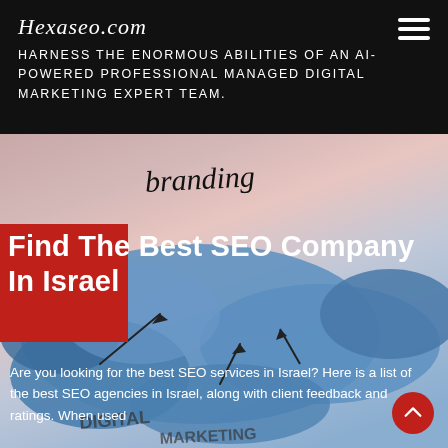Hexaseo.com
HARNESS THE ENORMOUS ABILITIES OF AN AI-POWERED PROFESSIONAL MANAGED DIGITAL MARKETING EXPERT TEAM.
[Figure (illustration): Hero image background showing a world map with blue painted continents, handwritten words like 'branding', 'DIGITAL', 'MARKETING' scrawled over it, with a pinkish-reddish gradient sky overlay]
Find The Best SEO Company In Israel
Are you looking for the best SEO services in Israel? Here is a list of the best SEO agencies in Israel, along with client feedback and ratings. When used